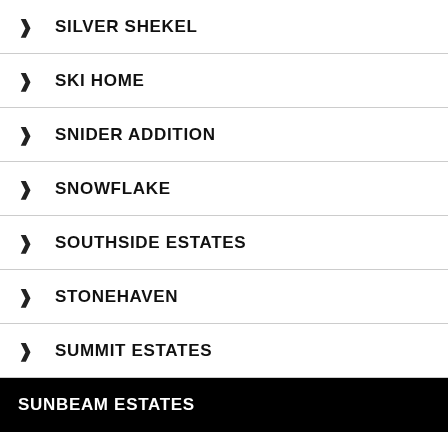SILVER SHEKEL
SKI HOME
SNIDER ADDITION
SNOWFLAKE
SOUTHSIDE ESTATES
STONEHAVEN
SUMMIT ESTATES
SUNBEAM ESTATES
SUNRISE POINT
SWAN RIVER RANCH